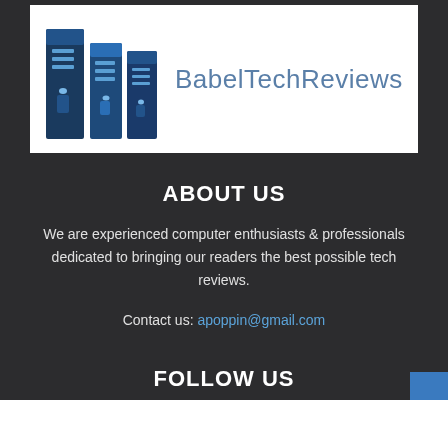[Figure (logo): BabelTechReviews logo: two blue server tower icons alongside the text 'BabelTechReviews' in steel-blue sans-serif font on a white background]
ABOUT US
We are experienced computer enthusiasts & professionals dedicated to bringing our readers the best possible tech reviews.
Contact us: apoppin@gmail.com
FOLLOW US